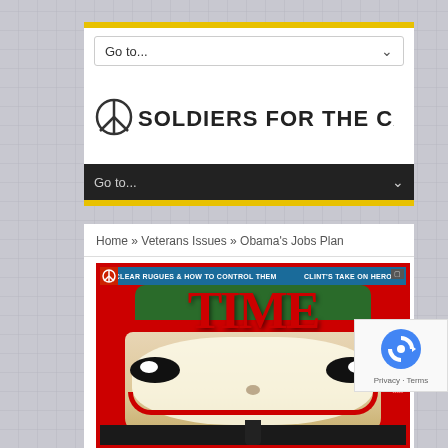[Figure (screenshot): Website header with 'Go to...' dropdown in white area, then Soldiers For The Cause #SFTC logo, then dark navigation bar with 'Go to...' dropdown and yellow bars]
Home » Veterans Issues » Obama's Jobs Plan
[Figure (photo): A manipulated TIME magazine cover showing a person's face painted as The Joker, with the headline 'The Next President']
OBAMA'S JOBS PLAN